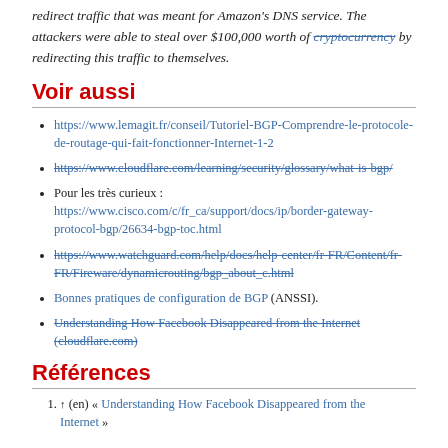redirect traffic that was meant for Amazon's DNS service. The attackers were able to steal over $100,000 worth of cryptocurrency by redirecting this traffic to themselves.
Voir aussi
https://www.lemagit.fr/conseil/Tutoriel-BGP-Comprendre-le-protocole-de-routage-qui-fait-fonctionner-Internet-1-2
https://www.cloudflare.com/learning/security/glossary/what-is-bgp/ [strikethrough]
Pour les très curieux : https://www.cisco.com/c/fr_ca/support/docs/ip/border-gateway-protocol-bgp/26634-bgp-toc.html
https://www.watchguard.com/help/docs/help-center/fr-FR/Content/fr-FR/Fireware/dynamicrouting/bgp_about_c.html [strikethrough]
Bonnes pratiques de configuration de BGP (ANSSI).
Understanding How Facebook Disappeared from the Internet (cloudflare.com) [strikethrough]
Références
1. ↑ (en) « Understanding How Facebook Disappeared from the Internet »